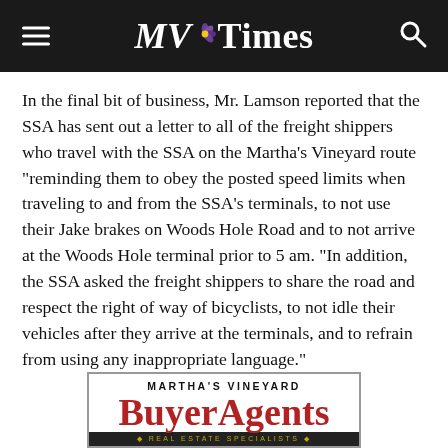MV Times
In the final bit of business, Mr. Lamson reported that the SSA has sent out a letter to all of the freight shippers who travel with the SSA on the Martha’s Vineyard route “reminding them to obey the posted speed limits when traveling to and from the SSA’s terminals, to not use their Jake brakes on Woods Hole Road and to not arrive at the Woods Hole terminal prior to 5 am. “In addition, the SSA asked the freight shippers to share the road and respect the right of way of bicyclists, to not idle their vehicles after they arrive at the terminals, and to refrain from using any inappropriate language.”
[Figure (other): Advertisement for Martha’s Vineyard Buyer Agents, Real Estate Specialists]